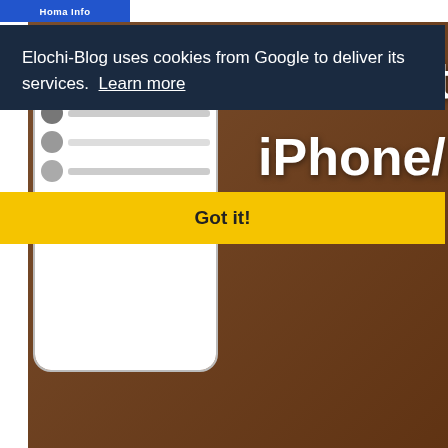Homa Info
[Figure (screenshot): Blog website screenshot showing a cookie consent banner overlay ('Elochi-Blog uses cookies from Google to deliver its services. Learn more'), a yellow 'Got it!' button, and a hero image for an article about restoring contacts on iPhone/iPad with social share buttons (Facebook, Twitter, Google+) and a (44%) badge]
HOW TO RESTORE CONTACTS ON IPHONE FROM ICLOUD (INSTANTLY) – ELOCHIBLOG
Elochi   November 19, 2021
Are you looking for How to Restore Contacts on iPhone from iCloud ? Then, you're in the right page. If you accidentally delete
f  t  [email]  p  [whatsapp]  +